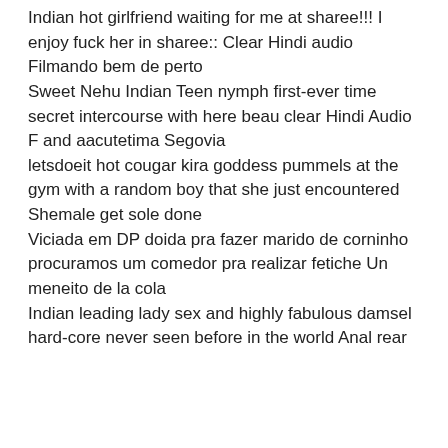Indian hot girlfriend waiting for me at sharee!!! I enjoy fuck her in sharee:: Clear Hindi audio
Filmando bem de perto
Sweet Nehu Indian Teen nymph first-ever time secret intercourse with here beau clear Hindi Audio
F and aacutetima Segovia
letsdoeit hot cougar kira goddess pummels at the gym with a random boy that she just encountered
Shemale get sole done
Viciada em DP doida pra fazer marido de corninho procuramos um comedor pra realizar fetiche Un meneito de la cola
Indian leading lady sex and highly fabulous damsel hard-core never seen before in the world Anal rear